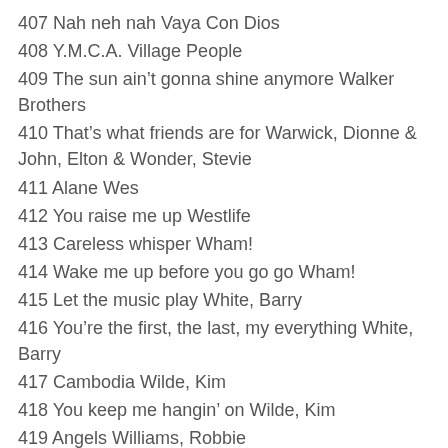407 Nah neh nah Vaya Con Dios
408 Y.M.C.A. Village People
409 The sun ain't gonna shine anymore Walker Brothers
410 That's what friends are for Warwick, Dionne & John, Elton & Wonder, Stevie
411 Alane Wes
412 You raise me up Westlife
413 Careless whisper Wham!
414 Wake me up before you go go Wham!
415 Let the music play White, Barry
416 You're the first, the last, my everything White, Barry
417 Cambodia Wilde, Kim
418 You keep me hangin' on Wilde, Kim
419 Angels Williams, Robbie
420 Feel Williams, Robbie
421 Love my life Williams, Robbie